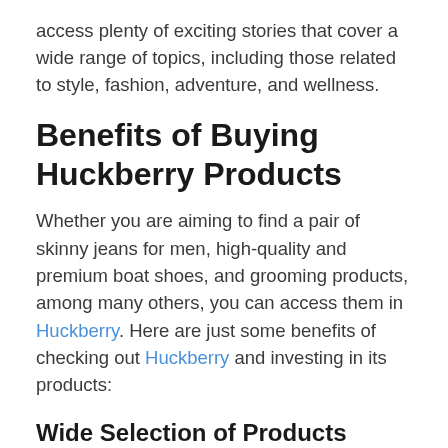access plenty of exciting stories that cover a wide range of topics, including those related to style, fashion, adventure, and wellness.
Benefits of Buying Huckberry Products
Whether you are aiming to find a pair of skinny jeans for men, high-quality and premium boat shoes, and grooming products, among many others, you can access them in Huckberry. Here are just some benefits of checking out Huckberry and investing in its products:
Wide Selection of Products